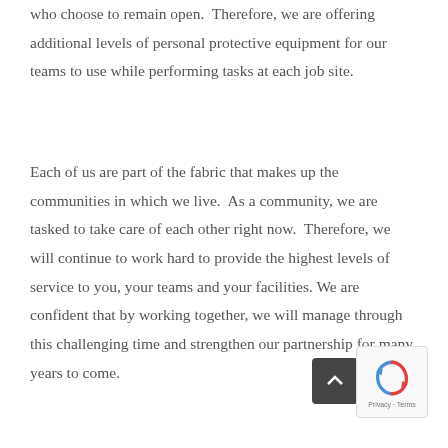who choose to remain open.  Therefore, we are offering additional levels of personal protective equipment for our teams to use while performing tasks at each job site.
Each of us are part of the fabric that makes up the communities in which we live.  As a community, we are tasked to take care of each other right now.  Therefore, we will continue to work hard to provide the highest levels of service to you, your teams and your facilities. We are confident that by working together, we will manage through this challenging time and strengthen our partnership for many years to come.